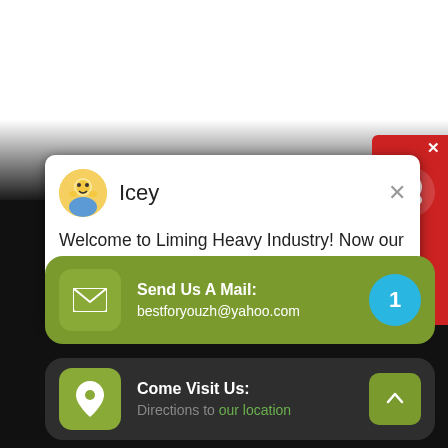[Figure (screenshot): Chat popup from 'Icey' agent with message: Welcome to Liming Heavy Industry! Now our on-line service is chatting with you! Please choose the language :]
Icey
Welcome to Liming Heavy Industry! Now our on-line service is chatting with you! Please choose the language :
Send Us A Mail:
bestforyouzh@yahoo.com
Come Visit Us:
Directions to our location